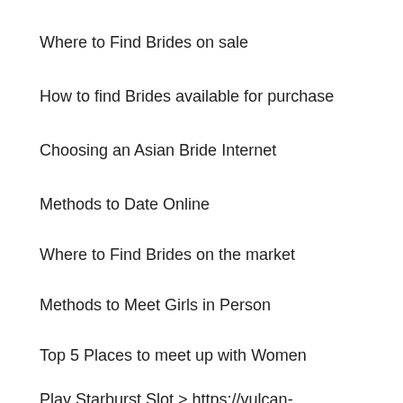Where to Find Brides on sale
How to find Brides available for purchase
Choosing an Asian Bride Internet
Methods to Date Online
Where to Find Brides on the market
Methods to Meet Girls in Person
Top 5 Places to meet up with Women
Play Starburst Slot > https://vulcan-777online.com/ 10 Free Spins No Deposit
The Benefits of Hook Up Points of interest
How come Online Dating Performs